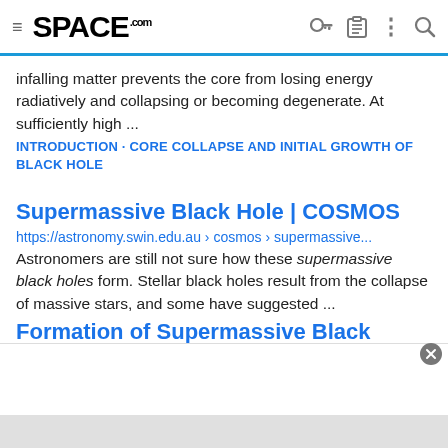SPACE.com
infalling matter prevents the core from losing energy radiatively and collapsing or becoming degenerate. At sufficiently high ...
INTRODUCTION · CORE COLLAPSE AND INITIAL GROWTH OF BLACK HOLE
Supermassive Black Hole | COSMOS
https://astronomy.swin.edu.au › cosmos › supermassive...
Astronomers are still not sure how these supermassive black holes form. Stellar black holes result from the collapse of massive stars, and some have suggested ...
Formation of Supermassive Black Holes
[Figure (other): Advertisement or content box area with close button at bottom of page]